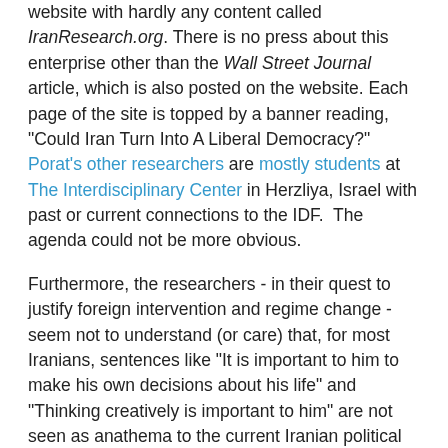website with hardly any content called IranResearch.org. There is no press about this enterprise other than the Wall Street Journal article, which is also posted on the website. Each page of the site is topped by a banner reading, "Could Iran Turn Into A Liberal Democracy?"  Porat's other researchers are mostly students at The Interdisciplinary Center in Herzliya, Israel with past or current connections to the IDF.  The agenda could not be more obvious.
Furthermore, the researchers - in their quest to justify foreign intervention and regime change - seem not to understand (or care) that, for most Iranians, sentences like "It is important to him to make his own decisions about his life" and "Thinking creatively is important to him" are not seen as anathema to the current Iranian political system.  Also, the supposed "findings" of this poll are in no way shocking to anyone familiar with (a) Iranian society, which obviously doesn't include most neoconservative WSJ readers, or Israeli pollsters for that matter, and (b) have read other polls of the Iranian public.
In late 2010, for example, the International Peace Institute